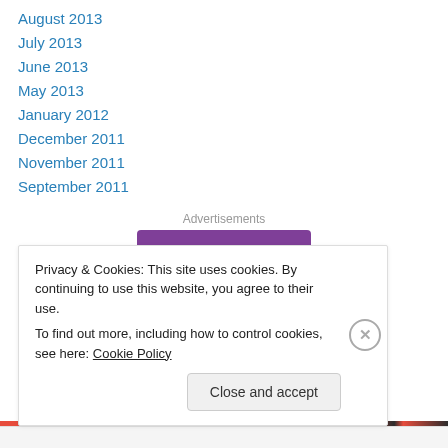August 2013
July 2013
June 2013
May 2013
January 2012
December 2011
November 2011
September 2011
Advertisements
[Figure (logo): WooCommerce logo on purple background]
Privacy & Cookies: This site uses cookies. By continuing to use this website, you agree to their use. To find out more, including how to control cookies, see here: Cookie Policy